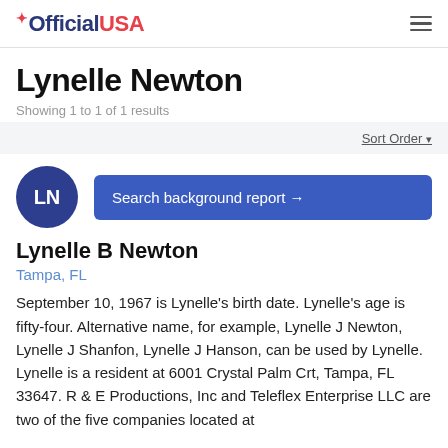OfficialUSA
Lynelle Newton
Showing 1 to 1 of 1 results
Sort Order
[Figure (illustration): Dark blue circle avatar with white initials LN]
Search background report →
Lynelle B Newton
Tampa, FL
September 10, 1967 is Lynelle's birth date. Lynelle's age is fifty-four. Alternative name, for example, Lynelle J Newton, Lynelle J Shanfon, Lynelle J Hanson, can be used by Lynelle. Lynelle is a resident at 6001 Crystal Palm Crt, Tampa, FL 33647. R & E Productions, Inc and Teleflex Enterprise LLC are two of the five companies located at